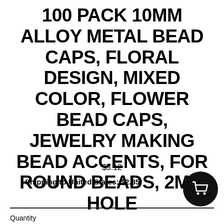100 PACK 10MM ALLOY METAL BEAD CAPS, FLORAL DESIGN, MIXED COLOR, FLOWER BEAD CAPS, JEWELRY MAKING BEAD ACCENTS, FOR ROUND BEADS, 2MM HOLE
$5.12
Shipping to United States: $2.85
[Figure (illustration): Black circular shopping cart button icon]
Quantity